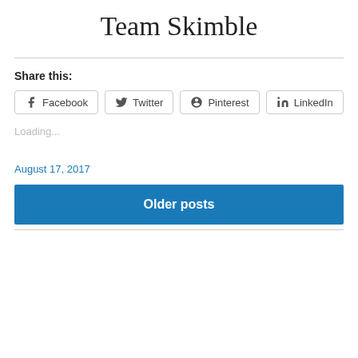[Figure (logo): Team Skimble handwritten logo text]
Share this:
Facebook  Twitter  Pinterest  LinkedIn
Loading...
August 17, 2017
Older posts